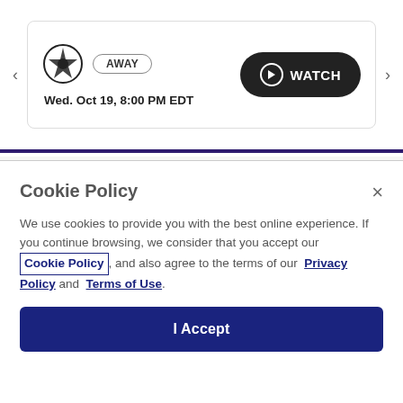[Figure (screenshot): NBA game card showing San Antonio Spurs as AWAY team, Wed. Oct 19, 8:00 PM EDT, with a WATCH button]
HORNETS FAN SHOP
Cookie Policy
We use cookies to provide you with the best online experience. If you continue browsing, we consider that you accept our Cookie Policy, and also agree to the terms of our Privacy Policy and Terms of Use.
I Accept